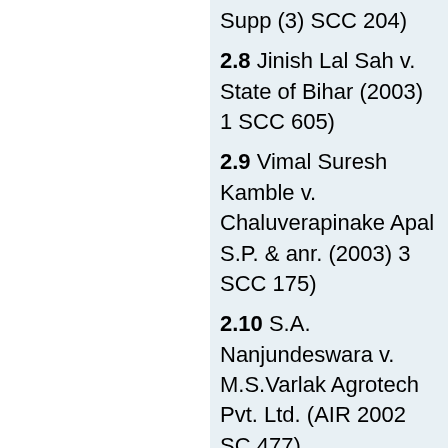Supp (3) SCC 204)
2.8 Jinish Lal Sah v. State of Bihar (2003) 1 SCC 605)
2.9 Vimal Suresh Kamble v. Chaluverapinake Apal S.P. & anr. (2003) 3 SCC 175)
2.10 S.A. Nanjundeswara v. M.S.Varlak Agrotech Pvt. Ltd. (AIR 2002 SC 477).
2.11 Ashok Kumar v. State of Haryana (AIR 2003 SC 777)
2.12 Devendra Das and ors. v. The State